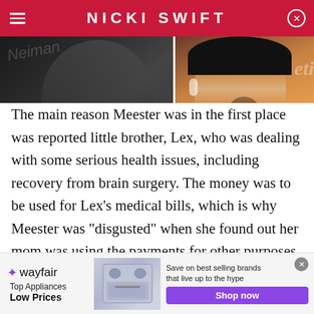NICKI SWIFT
[Figure (photo): Left: partial celebrity photo background, dark. Right: video thumbnail of a woman with short dark hair in yellow outfit with a play button overlay.]
The main reason Meester was in the first place was reported little brother, Lex, who was dealing with some serious health issues, including recovery from brain surgery. The money was to be used for Lex's medical bills, which is why Meester was "disgusted" when she found out her mom was using the payments for other purposes, according to an insider who spoke to Radar Online.
[Figure (other): Wayfair advertisement banner: Top Appliances Low Prices, Save on best selling brands that live up to the hype, Shop now button]